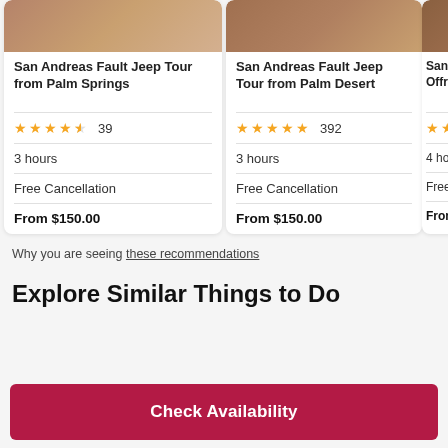[Figure (photo): Partial photo of tour activity, cropped at top]
San Andreas Fault Jeep Tour from Palm Springs
⭐⭐⭐⭐½ 39
3 hours
Free Cancellation
From $150.00
[Figure (photo): Partial photo of tour activity, cropped at top]
San Andreas Fault Jeep Tour from Palm Desert
⭐⭐⭐⭐⭐ 392
3 hours
Free Cancellation
From $150.00
[Figure (photo): Partial cropped photo, third card partially visible]
San A Offr
★★
4 ho
Free
From
Why you are seeing these recommendations
Explore Similar Things to Do
Check Availability